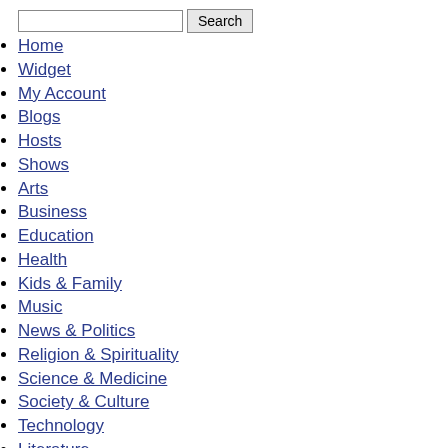[search box] Search
Home
Widget
My Account
Blogs
Hosts
Shows
Arts
Business
Education
Health
Kids & Family
Music
News & Politics
Religion & Spirituality
Science & Medicine
Society & Culture
Technology
Literature
Visual Arts
Sexuality
History
Hobbies
Alternative Health